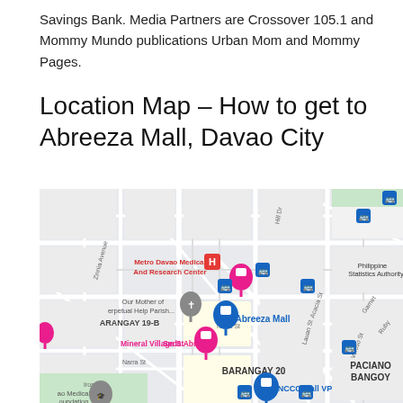Savings Bank. Media Partners are Crossover 105.1 and Mommy Mundo publications Urban Mom and Mommy Pages.
Location Map – How to get to Abreeza Mall, Davao City
[Figure (map): Google Maps screenshot showing Abreeza Mall location in Davao City, Philippines. Visible landmarks include Metro Davao Medical And Research Center, Philippine Statistics Authority, Our Mother of Perpetual Help Parish, Seda Abreeza, NCCC Mall VP, Mineral Village St, Barangay 19-B, Barangay 20, Paciano Bangoy. Streets include Zinnia Avenue, Acacia St, Lauan St, Narra St, Veloso St, Garnet, Ruby, Iron, Hill Dr. Blue bus stop icons are visible throughout the map.]